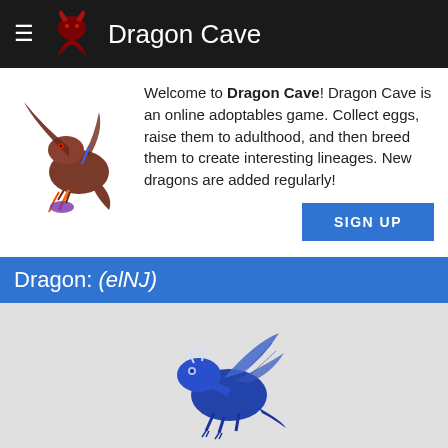Dragon Cave
Welcome to Dragon Cave! Dragon Cave is an online adoptables game. Collect eggs, raise them to adulthood, and then breed them to create interesting lineages. New dragons are added regularly!
Dragon: (elNJ)
[Figure (illustration): Blue/dark dragon sprite, adult dragon standing facing left]
Stolen on:    Nov 03, 2008
Hatched on:   Nov 08, 2008
Grew up on:   Nov 12, 2008